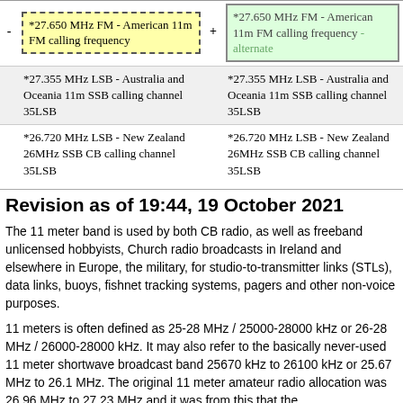| - | left content | + | right content |
| --- | --- | --- | --- |
| - | *27.650 MHz FM - American 11m FM calling frequency | + | *27.650 MHz FM - American 11m FM calling frequency - alternate |
|  | *27.355 MHz LSB - Australia and Oceania 11m SSB calling channel 35LSB |  | *27.355 MHz LSB - Australia and Oceania 11m SSB calling channel 35LSB |
|  | *26.720 MHz LSB - New Zealand 26MHz SSB CB calling channel 35LSB |  | *26.720 MHz LSB - New Zealand 26MHz SSB CB calling channel 35LSB |
Revision as of 19:44, 19 October 2021
The 11 meter band is used by both CB radio, as well as freeband unlicensed hobbyists, Church radio broadcasts in Ireland and elsewhere in Europe, the military, for studio-to-transmitter links (STLs), data links, buoys, fishnet tracking systems, pagers and other non-voice purposes.
11 meters is often defined as 25-28 MHz / 25000-28000 kHz or 26-28 MHz / 26000-28000 kHz. It may also refer to the basically never-used 11 meter shortwave broadcast band 25670 kHz to 26100 kHz or 25.67 MHz to 26.1 MHz. The original 11 meter amateur radio allocation was 26.96 MHz to 27.23 MHz and it was from this that the